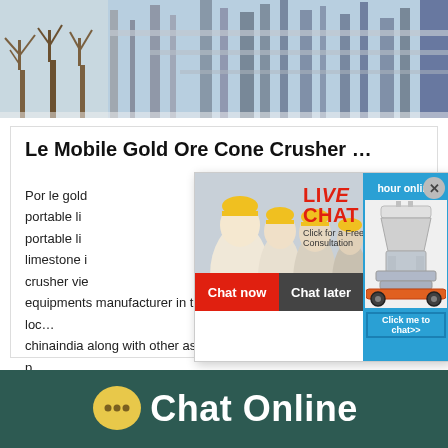[Figure (photo): Industrial plant/factory with pipes and structures against a blue sky, with bare trees on the left side]
Le Mobile Gold Ore Cone Crusher …
Por le gold … ria portable li… hour online portable li… portable li… limestone i… crusher vie… equipments manufacturer in the world loc… chinaindia along with other asian tyy get p… limestone cone ...
[Figure (screenshot): Live chat popup overlay with workers in hard hats photo, LIVE CHAT heading in red, 'Click for a Free Consultation' text, Chat now (red) and Chat later (dark) buttons, blue right panel with cone crusher image and 'Click me to chat>>' button]
[Figure (infographic): Footer bar with chat bubble icon and 'Chat Online' text on dark teal background]